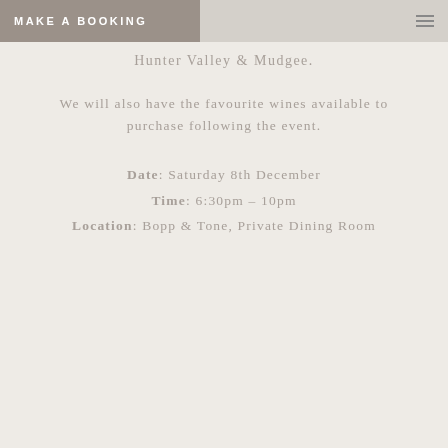MAKE A BOOKING
Hunter Valley & Mudgee.
We will also have the favourite wines available to purchase following the event.
Date: Saturday 8th December
Time: 6:30pm – 10pm
Location: Bopp & Tone, Private Dining Room